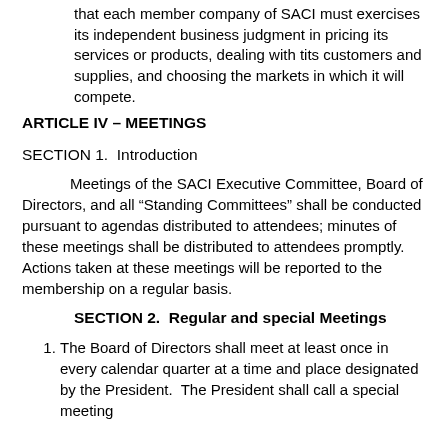7. any matter which is inconsistent with the proposition that each member company of SACI must exercises its independent business judgment in pricing its services or products, dealing with tits customers and supplies, and choosing the markets in which it will compete.
ARTICLE IV – MEETINGS
SECTION 1.  Introduction
Meetings of the SACI Executive Committee, Board of Directors, and all “Standing Committees” shall be conducted pursuant to agendas distributed to attendees; minutes of these meetings shall be distributed to attendees promptly.  Actions taken at these meetings will be reported to the membership on a regular basis.
SECTION 2.  Regular and special Meetings
1. The Board of Directors shall meet at least once in every calendar quarter at a time and place designated by the President.  The President shall call a special meeting